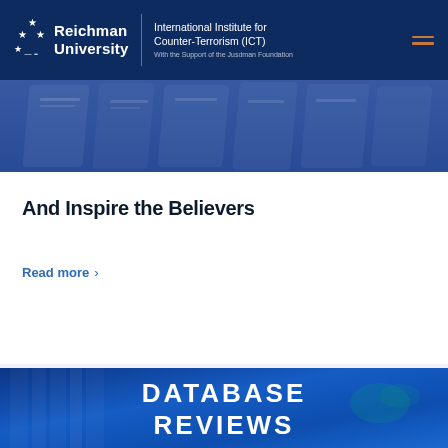Reichman University | International Institute for Counter-Terrorism (ICT) | With the Support of the Jusdman Foundation
[Figure (photo): Blurred blue-tinted photo of stacked newspapers filling a horizontal strip]
And Inspire the Believers
Read more >
[Figure (photo): Blue-tinted server or database rack image with large white bold text overlay reading 'DATABASE REVIEWS']